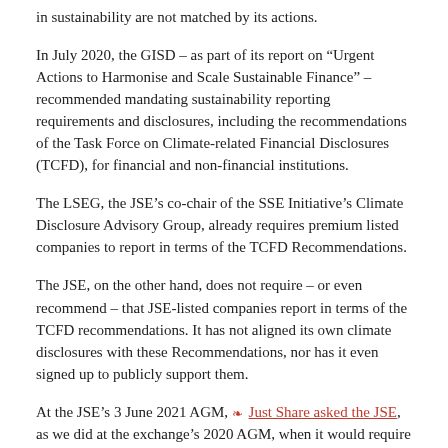in sustainability are not matched by its actions.
In July 2020, the GISD – as part of its report on “Urgent Actions to Harmonise and Scale Sustainable Finance” – recommended mandating sustainability reporting requirements and disclosures, including the recommendations of the Task Force on Climate-related Financial Disclosures (TCFD), for financial and non-financial institutions.
The LSEG, the JSE’s co-chair of the SSE Initiative’s Climate Disclosure Advisory Group, already requires premium listed companies to report in terms of the TCFD Recommendations.
The JSE, on the other hand, does not require – or even recommend – that JSE-listed companies report in terms of the TCFD recommendations. It has not aligned its own climate disclosures with these Recommendations, nor has it even signed up to publicly support them.
At the JSE’s 3 June 2021 AGM, Just Share asked the JSE, as we did at the exchange’s 2020 AGM, when it would require its issuers to report in terms of the TCFD Recommendations, and when it would publish an own environmental, social and governance (ESG) reporting